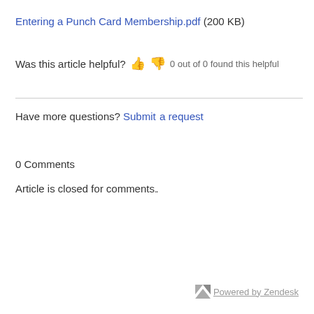Entering a Punch Card Membership.pdf (200 KB)
Was this article helpful? 👍 👎  0 out of 0 found this helpful
Have more questions? Submit a request
0 Comments
Article is closed for comments.
Powered by Zendesk